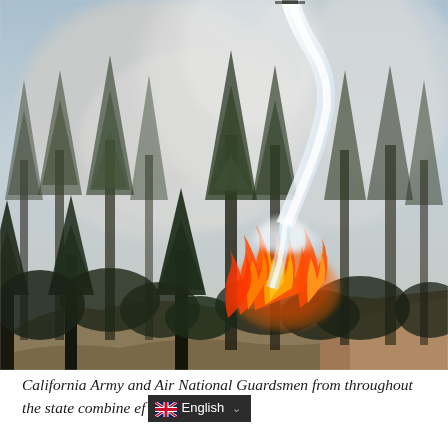[Figure (photo): Aerial firefighting photo showing a helicopter dropping water on a forest wildfire. Tall conifer trees are visible with bright orange flames burning among them. Thick white and grey smoke billows upward. A stream of water arcs downward from above the frame toward the fire. The terrain is steep and dry.]
California Army and Air National Guardsmen from throughout the state combine ef [English language selector overlay]